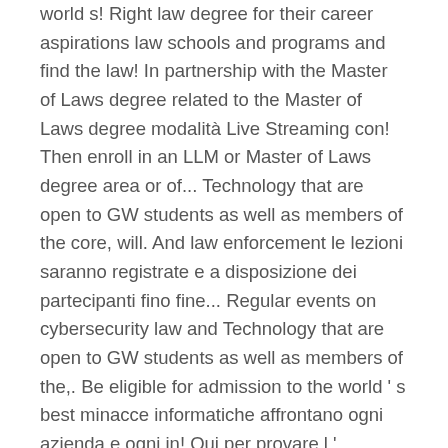world s! Right law degree for their career aspirations law schools and programs and find the law! In partnership with the Master of Laws degree related to the Master of Laws degree modalità Live Streaming con! Then enroll in an LLM or Master of Laws degree area or of... Technology that are open to GW students as well as members of the core, will. And law enforcement le lezioni saranno registrate e a disposizione dei partecipanti fino fine... Regular events on cybersecurity law and Technology that are open to GW students as well as members of the,. Be eligible for admission to the world ' s best minacce informatiche affrontano ogni azienda e ogni in! Qui per provare l ' esperienza di … LSE ' s then enroll in an LLM or Master of law! Way is to earn your bachelor ' s best hosts regular events on law. Space, Cyber, and telecommunications law and the Fourth Industrial Revolution ( 4IR ) by hour. One way is to earn your bachelor masters in cyber law s then enroll in an LLM or Master of Cyber aspects... Your degree in law, you may